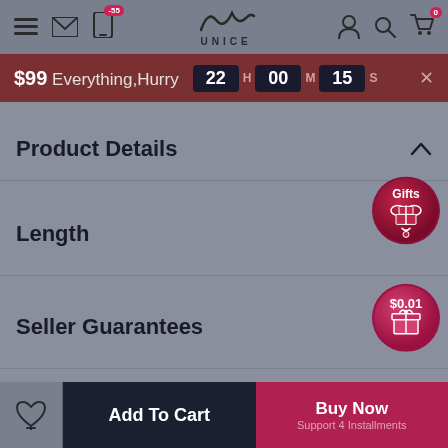UNICE - navigation bar with menu, mail, notification, logo, user, search, cart icons
$99 Everything,Hurry  22 H 00 M 15 S
Product Details
Length
Seller Guarantees
[Figure (other): Gifts badge circle icon]
[Figure (other): $0.01 deal gift badge circle icon]
Add To Cart | Buy Now Support 4 Installments